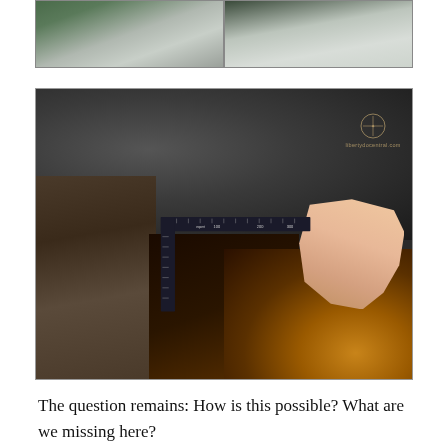[Figure (photo): Two photographs side by side showing stone/rock surface details — left shows dark greenish stone with rough texture, right shows lighter grey/white stone surface]
[Figure (photo): Main photograph showing interior of an ancient stone structure (likely Egyptian pyramid or similar) with dark granite walls, ceiling, and a precise right-angle stone corner being measured with an L-shaped metal square ruler. A person's hand holds the ruler at the corner. Warm light illuminates the interior shaft. A small compass/logo watermark is visible in the upper right.]
The question remains: How is this possible? What are we missing here?